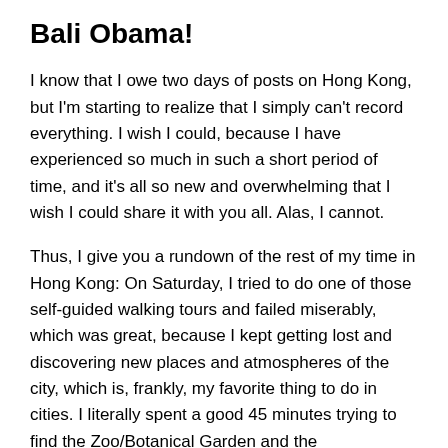Bali Obama!
I know that I owe two days of posts on Hong Kong, but I'm starting to realize that I simply can't record everything. I wish I could, because I have experienced so much in such a short period of time, and it's all so new and overwhelming that I wish I could share it with you all. Alas, I cannot.
Thus, I give you a rundown of the rest of my time in Hong Kong: On Saturday, I tried to do one of those self-guided walking tours and failed miserably, which was great, because I kept getting lost and discovering new places and atmospheres of the city, which is, frankly, my favorite thing to do in cities. I literally spent a good 45 minutes trying to find the Zoo/Botanical Garden and the